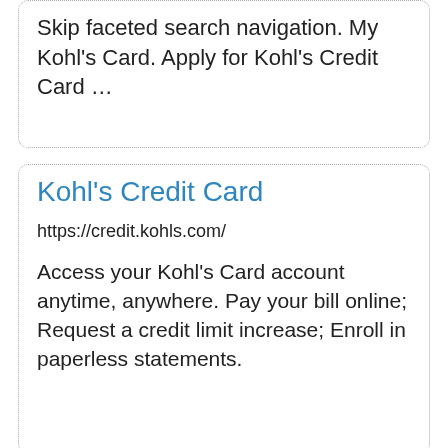Skip faceted search navigation. My Kohl's Card. Apply for Kohl's Credit Card …
Kohl's Credit Card
https://credit.kohls.com/
Access your Kohl's Card account anytime, anywhere. Pay your bill online; Request a credit limit increase; Enroll in paperless statements.